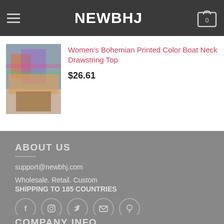NEWBHJ
Women's Bohemian Printed Color Boat Neck Drawstring Top
$26.61
ABOUT US
support@newbhj.com
Wholesale. Retail. Custom
SHIPPING TO 185 COUNTRIES
COMPANY INFO